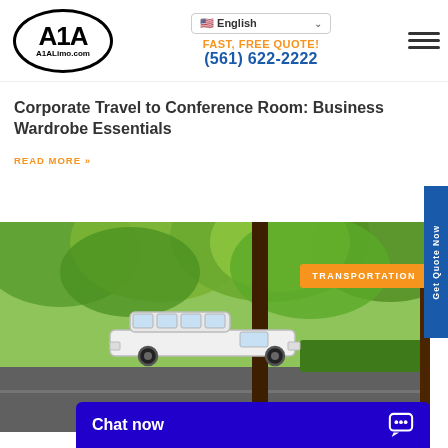[Figure (logo): A1A Limo logo inside an oval, text A1ALimo.com]
English
FAST, FREE QUOTE!
(561) 622-2222
Corporate Travel to Conference Room: Business Wardrobe Essentials
READ MORE »
[Figure (photo): White stretch limousine on a road surrounded by green trees]
TRANSPORTATION
Get Quote Now
Chat now